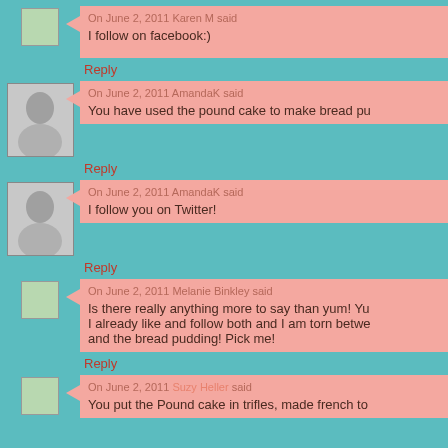On June 2, 2011 Karen M said
I follow on facebook:)
Reply
On June 2, 2011 AmandaK said
You have used the pound cake to make bread pu...
Reply
On June 2, 2011 AmandaK said
I follow you on Twitter!
Reply
On June 2, 2011 Melanie Binkley said
Is there really anything more to say than yum! Yu... I already like and follow both and I am torn betwe... and the bread pudding! Pick me!
Reply
On June 2, 2011 Suzy Heller said
You put the Pound cake in trifles, made french to...